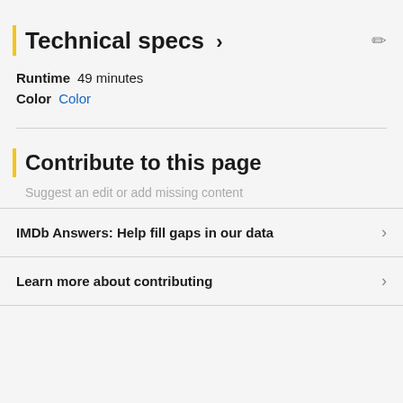Technical specs >
Runtime  49 minutes
Color  Color
Contribute to this page
Suggest an edit or add missing content
IMDb Answers: Help fill gaps in our data
Learn more about contributing